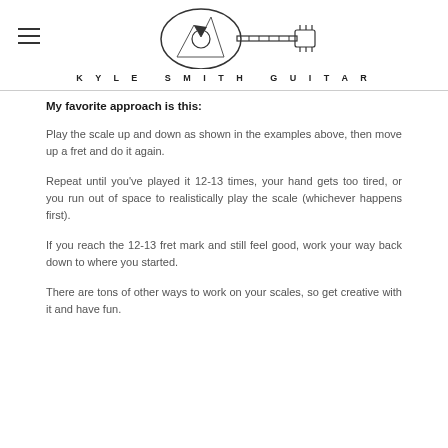KYLE SMITH GUITAR
My favorite approach is this:
Play the scale up and down as shown in the examples above, then move up a fret and do it again.
Repeat until you've played it 12-13 times, your hand gets too tired, or you run out of space to realistically play the scale (whichever happens first).
If you reach the 12-13 fret mark and still feel good, work your way back down to where you started.
There are tons of other ways to work on your scales, so get creative with it and have fun.